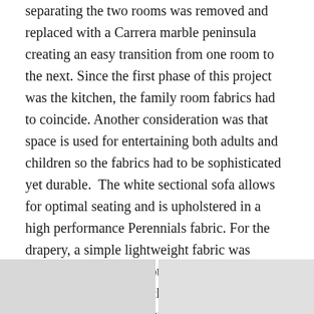separating the two rooms was removed and replaced with a Carrera marble peninsula creating an easy transition from one room to the next. Since the first phase of this project was the kitchen, the family room fabrics had to coincide. Another consideration was that space is used for entertaining both adults and children so the fabrics had to be sophisticated yet durable.  The white sectional sofa allows for optimal seating and is upholstered in a high performance Perennials fabric. For the drapery, a simple lightweight fabric was selected to allow for optimal light. A five inch Schumacher tape was chosen to line the interior edge of each panel along with a beautiful brass rod with lucite finials and rings. The rod added sophistication and glamor to this window decor.
[Figure (photo): Two interior room photos side by side at the bottom of the page, partially visible]